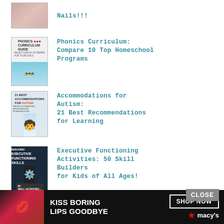[Figure (photo): Thumbnail image at top (partially visible, blurred pink/skin tones - nails related)]
Nails!!!
[Figure (photo): Phonics Curriculum Guide book cover with children]
Phonics Curriculum: Compare 10 Top Homeschool Programs
[Figure (photo): 21 Best Accommodations for Autism book cover]
Accommodations for Autism: 21 Best Recommendations for Learning
[Figure (photo): Executive Functioning Skills book cover]
Executive Functioning Activities: 50 Skill Builders for Kids of All Ages!
[Figure (photo): The Basic Types of Special Needs book cover (partially visible)]
The Basic Types of Special Needs: A Guide to Special
[Figure (photo): Macy's advertisement banner - Kiss Boring Lips Goodbye, Shop Now]
CLOSE